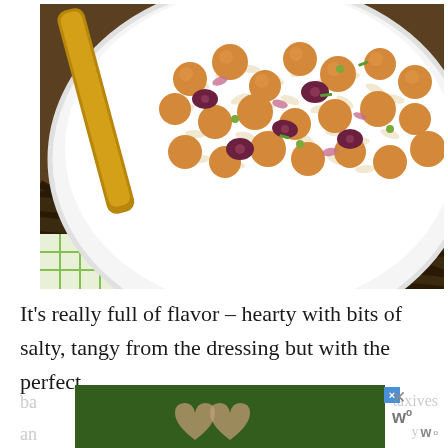[Figure (photo): Overhead close-up photo of a large white bowl of orzo pasta salad with chickpeas, kalamata olives, red onion, and capers. A wooden spoon is visible in the upper left. The bowl sits on a patterned dark cloth with a green-checked cloth visible at the lower left.]
It's really full of flavor – hearty with bits of salty, tangy from the dressing but with the perfect
[Figure (photo): Advertisement banner reading LOVE > HATE with hands forming a heart shape in background, with close buttons and overlapping faded text.]